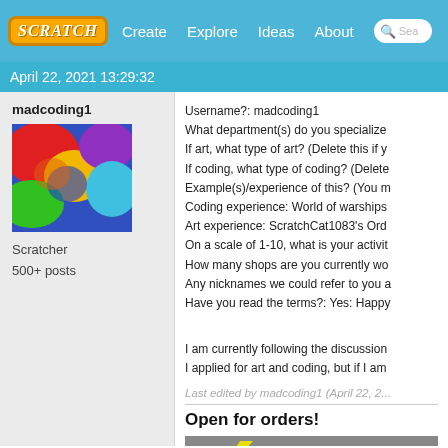SCRATCH | Create | Explore | Ideas | About | Search
April 22, 2021 13:29:32
madcoding1
[Figure (photo): Colorful abstract avatar with red, yellow, blue, green, purple blobs]
Scratcher
500+ posts
Username?: madcoding1
What department(s) do you specialize
If art, what type of art? (Delete this if y
If coding, what type of coding? (Delete
Example(s)/experience of this? (You m
Coding experience: World of warships
Art experience: ScratchCat1083's Ord
On a scale of 1-10, what is your activit
How many shops are you currently wo
Any nicknames we could refer to you a
Have you read the terms?: Yes: Happy

I am currently following the discussion
I applied for art and coding, but if I am
Last edited by madcoding1 (April 22, 2...
Open for orders!
[Figure (illustration): Gray banner with yellow lightning bolt shape and text 'The Ligh' visible, subtext 'All your']